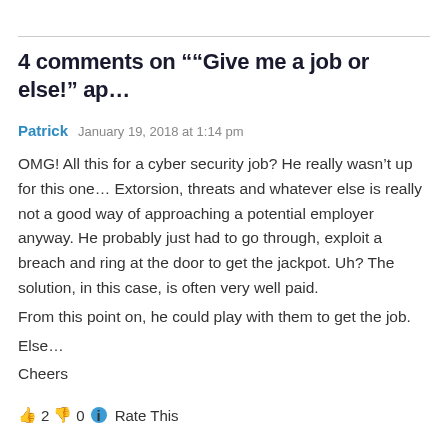4 comments on "“Give me a job or else!” ap…
Patrick   January 19, 2018 at 1:14 pm
OMG! All this for a cyber security job? He really wasn’t up for this one… Extorsion, threats and whatever else is really not a good way of approaching a potential employer anyway. He probably just had to go through, exploit a breach and ring at the door to get the jackpot. Uh? The solution, in this case, is often very well paid.
From this point on, he could play with them to get the job.
Else…
Cheers
👍 2 👎 0 ℹ Rate This